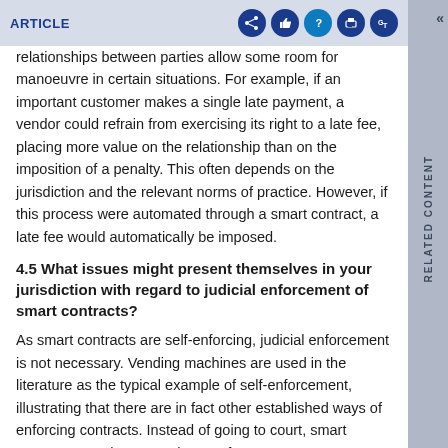ARTICLE
relationships between parties allow some room for manoeuvre in certain situations. For example, if an important customer makes a single late payment, a vendor could refrain from exercising its right to a late fee, placing more value on the relationship than on the imposition of a penalty. This often depends on the jurisdiction and the relevant norms of practice. However, if this process were automated through a smart contract, a late fee would automatically be imposed.
4.5 What issues might present themselves in your jurisdiction with regard to judicial enforcement of smart contracts?
As smart contracts are self-enforcing, judicial enforcement is not necessary. Vending machines are used in the literature as the typical example of self-enforcement, illustrating that there are in fact other established ways of enforcing contracts. Instead of going to court, smart contracts can thus pave the way for